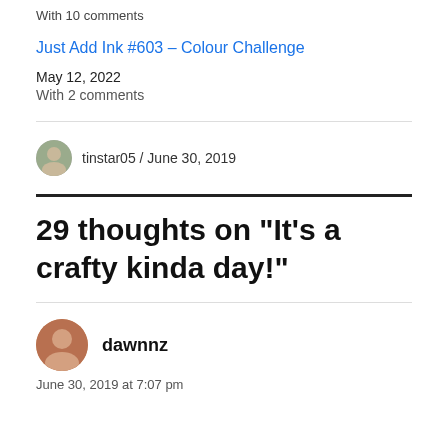With 10 comments
Just Add Ink #603 – Colour Challenge
May 12, 2022
With 2 comments
tinstar05 / June 30, 2019
29 thoughts on “It’s a crafty kinda day!”
dawnnz
June 30, 2019 at 7:07 pm